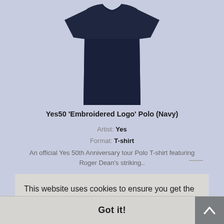[Figure (photo): Dark navy polo shirt / t-shirt on white/light background, cropped at top]
Yes50 'Embroidered Logo' Polo (Navy)
Artist: Yes
Format: T-shirt
An official Yes 50th Anniversary tour Polo T-shirt featuring Roger Dean's striking..
This website uses cookies to ensure you get the best experience on our website.
Learn more
Got it!